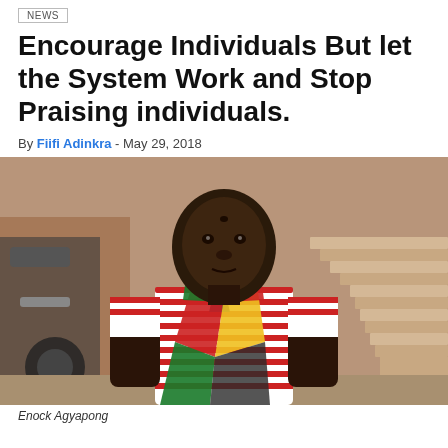News
Encourage Individuals But let the System Work and Stop Praising individuals.
By Fiifi Adinkra - May 29, 2018
[Figure (photo): A man wearing a red and white striped polo shirt and a Ghanaian flag scarf (green, gold, red, black) seated outdoors in front of brick steps and a bicycle or motorcycle. The subject appears to be Enock Agyapong.]
Enock Agyapong